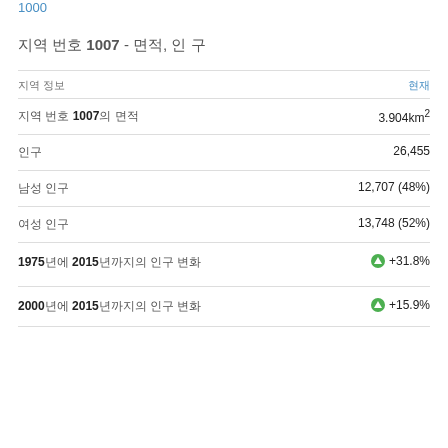1000
지역 번호 1007 - 면적, 인 구
지역 정보
현재
지역 번호 1007의 면적
인구
남성 인구
여성 인구
1975년에 2015년까지의 인구 변화
2000년에 2015년까지의 인구 변화